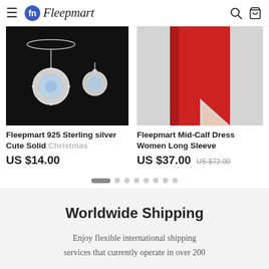Fleepmart
[Figure (photo): Jewelry product image: silver necklace and earring with crystal stones on dark background]
Fleepmart 925 Sterling silver Cute Solid Christmas
US $14.00
[Figure (photo): Fashion product image: red mid-calf dress with long sleeves on model]
Fleepmart Mid-Calf Dress Women Long Sleeve
US $37.00  US $72.00
Worldwide Shipping
Enjoy flexible international shipping services that currently operate in over 200